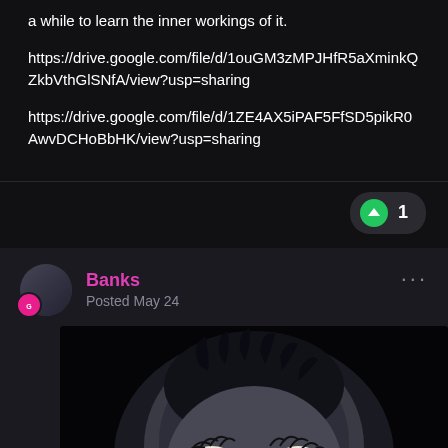a while to learn the inner workings of it.
https://drive.google.com/file/d/1ouGM3zMPJHfR5aXminkQZkbVthGlSNfA/view?usp=sharing
https://drive.google.com/file/d/1ZE4AX5iPAF5FfSD5pikR0AwvDCHoBbHK/view?usp=sharing
Banks
Posted May 24
[Figure (photo): Close-up photo of an animated or CGI creature with wide brown eyes, gray fur, prominent eyelashes, and a menacing or surprised expression against a dark background.]